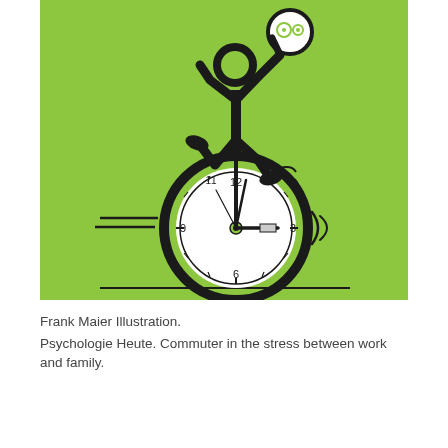[Figure (illustration): An illustration on a bright green background showing a stick-figure person riding a unicycle whose wheel is a clock face. The figure holds a phone/device up to its face. Speed lines appear to the left of the wheel. The clock shows approximately 3 o'clock.]
Frank Maier Illustration.
Psychologie Heute. Commuter in the stress between work and family.